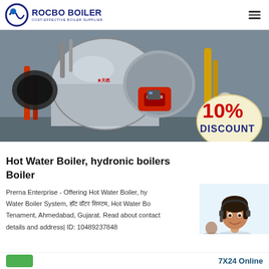ROCBO BOILER - COST-EFFECTIVE BOILER SUPPLIER
[Figure (photo): Industrial hot water boiler in a factory setting, with a red burner unit and yellow pipes. A 10% DISCOUNT badge is overlaid on the bottom right of the image.]
Hot Water Boiler, hydronic boilers Boiler
Prerna Enterprise - Offering Hot Water Boiler, hydronic boilers, Hot Water Boiler System, हॉट वॉटर सिस्टम, Hot Water Boiler at Tenament, Ahmedabad, Gujarat. Read about company and contact details and address| ID: 10489237848
[Figure (photo): Customer service representative woman wearing a headset, smiling, with another agent visible in background.]